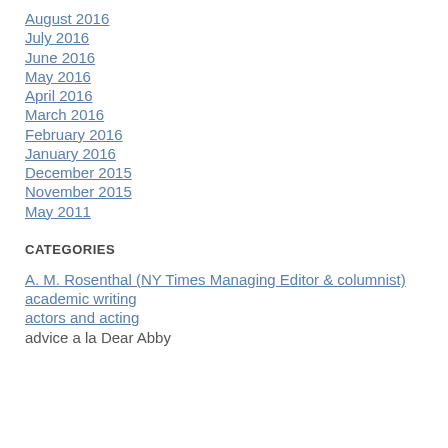August 2016
July 2016
June 2016
May 2016
April 2016
March 2016
February 2016
January 2016
December 2015
November 2015
May 2011
CATEGORIES
A. M. Rosenthal (NY Times Managing Editor & columnist)
academic writing
actors and acting
advice a la Dear Abby